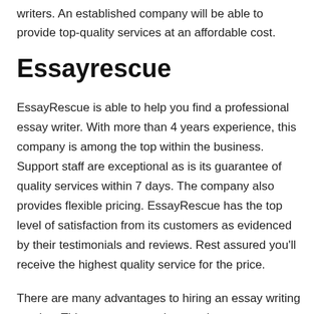writers. An established company will be able to provide top-quality services at an affordable cost.
Essayrescue
EssayRescue is able to help you find a professional essay writer. With more than 4 years experience, this company is among the top within the business. Support staff are exceptional as is its guarantee of quality services within 7 days. The company also provides flexible pricing. EssayRescue has the top level of satisfaction from its customers as evidenced by their testimonials and reviews. Rest assured you'll receive the highest quality service for the price.
There are many advantages to hiring an essay writing service. This can save you time, and prevent common errors. You can also rest assured that you will not be